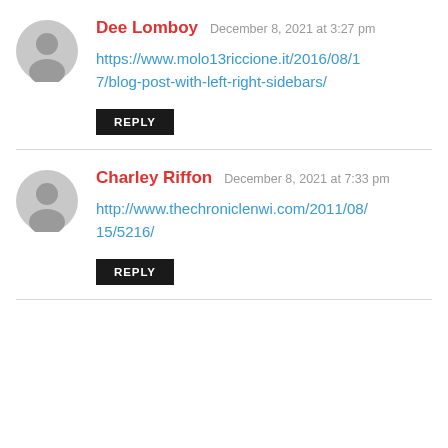Dee Lomboy — December 8, 2021 at 3:27 pm
https://www.molo13riccione.it/2016/08/17/blog-post-with-left-right-sidebars/
REPLY
Charley Riffon — December 8, 2021 at 7:33 pm
http://www.thechroniclenwi.com/2011/08/15/5216/
REPLY